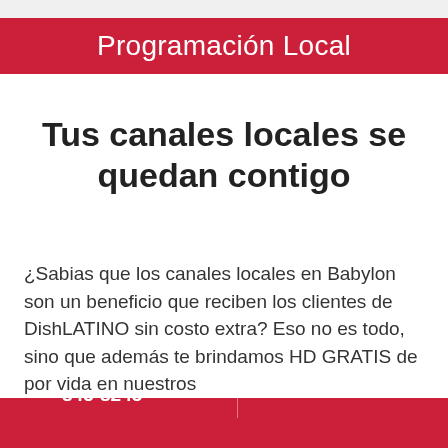Programación Local
Tus canales locales se quedan contigo
¿Sabias que los canales locales en Babylon son un beneficio que reciben los clientes de DishLATINO sin costo extra? Eso no es todo, sino que además te brindamos HD GRATIS de por vida en nuestros
Llama al 1-888-845-8245  Ordena en línea